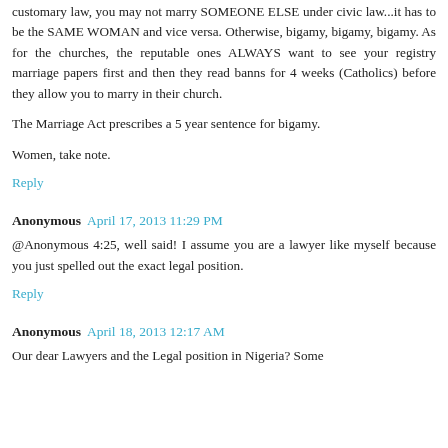customary law, you may not marry SOMEONE ELSE under civic law...it has to be the SAME WOMAN and vice versa. Otherwise, bigamy, bigamy, bigamy. As for the churches, the reputable ones ALWAYS want to see your registry marriage papers first and then they read banns for 4 weeks (Catholics) before they allow you to marry in their church.
The Marriage Act prescribes a 5 year sentence for bigamy.
Women, take note.
Reply
Anonymous  April 17, 2013 11:29 PM
@Anonymous 4:25, well said! I assume you are a lawyer like myself because you just spelled out the exact legal position.
Reply
Anonymous  April 18, 2013 12:17 AM
Our dear Lawyers and the Legal position in Nigeria? Some